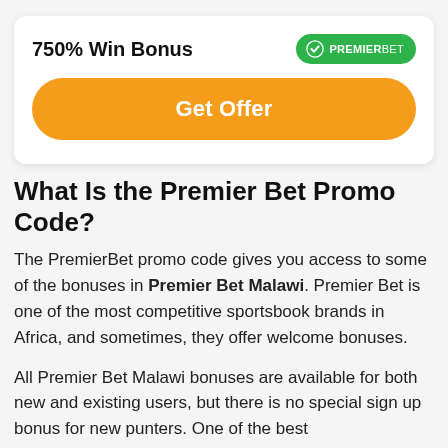750% Win Bonus
[Figure (logo): PremierBet logo badge in green rounded rectangle]
Get Offer
What Is the Premier Bet Promo Code?
The PremierBet promo code gives you access to some of the bonuses in Premier Bet Malawi. Premier Bet is one of the most competitive sportsbook brands in Africa, and sometimes, they offer welcome bonuses.
All Premier Bet Malawi bonuses are available for both new and existing users, but there is no special sign up bonus for new punters. One of the best